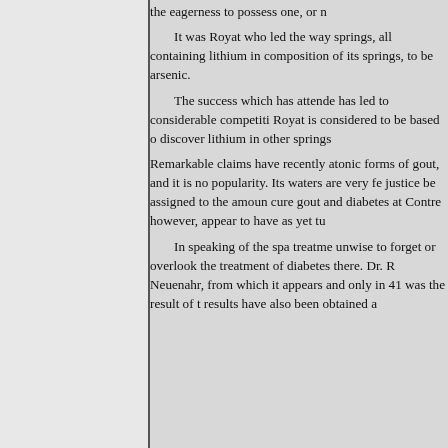the eagerness to possess one, or

It was Royat who led the way springs, all containing lithium in composition of its springs, to be arsenic.

The success which has attended has led to considerable competition. Royat is considered to be based on discover lithium in other springs

Remarkable claims have recently atonic forms of gout, and it is no popularity. Its waters are very fe justice be assigned to the amount cure gout and diabetes at Contre however, appear to have as yet tu

In speaking of the spa treatment unwise to forget or overlook the treatment of diabetes there. Dr. R Neuenahr, from which it appears and only in 41 was the result of t results have also been obtained a